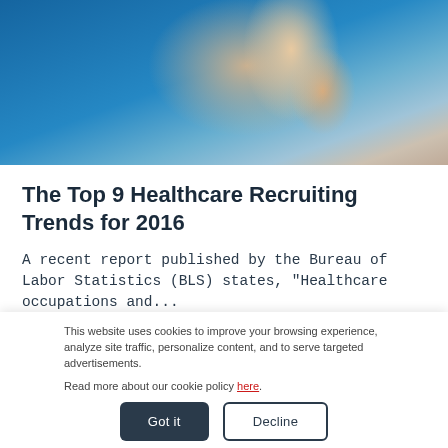[Figure (photo): Close-up photo of a hand holding glasses against a blue background, representing healthcare/medical professional context]
The Top 9 Healthcare Recruiting Trends for 2016
A recent report published by the Bureau of Labor Statistics (BLS) states, “Healthcare occupations and...
This website uses cookies to improve your browsing experience, analyze site traffic, personalize content, and to serve targeted advertisements.

Read more about our cookie policy here.